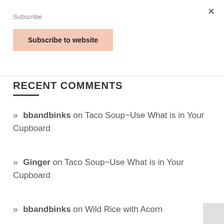Subscribe
×
Subscribe to website
RECENT COMMENTS
» bbandbinks on Taco Soup~Use What is in Your Cupboard
» Ginger on Taco Soup~Use What is in Your Cupboard
» bbandbinks on Wild Rice with Acorn